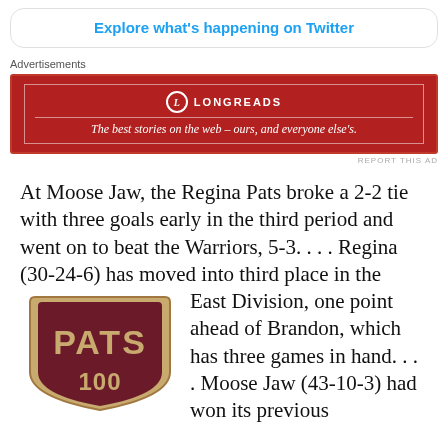Explore what's happening on Twitter
Advertisements
[Figure (other): Longreads advertisement banner: red background with Longreads logo and tagline 'The best stories on the web – ours, and everyone else's.']
REPORT THIS AD
At Moose Jaw, the Regina Pats broke a 2-2 tie with three goals early in the third period and went on to beat the Warriors, 5-3. . . . Regina (30-24-6) has moved into third place in the East Division, one point ahead of Brandon, which has three games in hand. . . . Moose Jaw (43-10-3) had won its previous
[Figure (logo): Regina Pats 100th anniversary logo — dark red/maroon shield shape with gold 'PATS' text and '100' below]